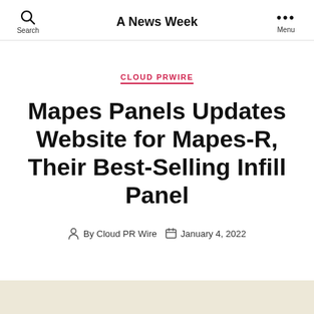A News Week
CLOUD PRWIRE
Mapes Panels Updates Website for Mapes-R, Their Best-Selling Infill Panel
By Cloud PR Wire  January 4, 2022